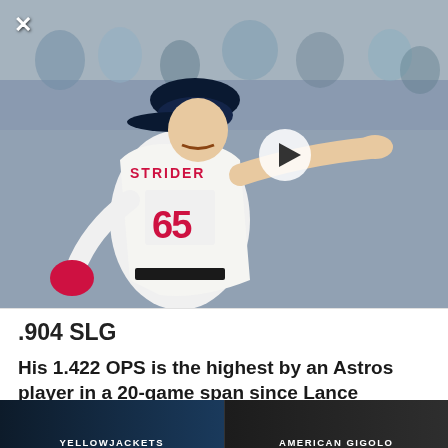[Figure (photo): Baseball pitcher wearing Atlanta Braves uniform number 65 (Strider), pointing to the right, with crowd in background. A play button overlay is visible.]
.904 SLG
His 1.422 OPS is the highest by an Astros player in a 20-game span since Lance Berkman in 2008 (min 70 PA)
9:47 PM · Jun 22, 2022
[Figure (screenshot): Advertisement banner showing YELLOWJACKETS and AMERICAN GIGOLO show promotions on dark background]